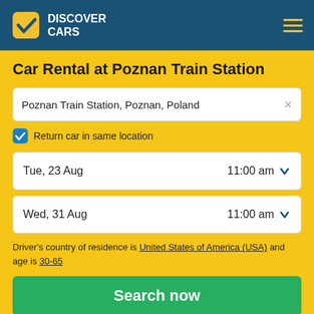DISCOVER CARS
Car Rental at Poznan Train Station
Poznan Train Station, Poznan, Poland
Return car in same location
Tue, 23 Aug  11:00 am
Wed, 31 Aug  11:00 am
Driver's country of residence is United States of America (USA) and age is 30-65
Search now
✓ No Hidden Costs  ✓ 24/7 Support  ✓ Free Cancellation